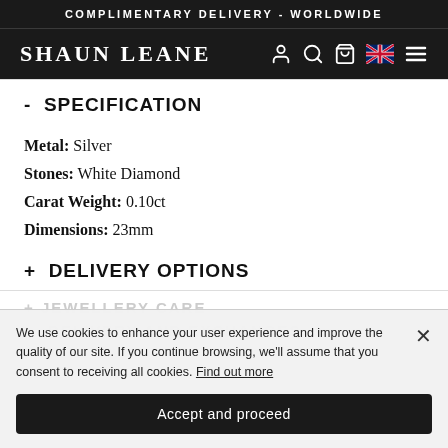COMPLIMENTARY DELIVERY - WORLDWIDE
SHAUN LEANE
- SPECIFICATION
Metal: Silver
Stones: White Diamond
Carat Weight: 0.10ct
Dimensions: 23mm
+ DELIVERY OPTIONS
+ JEWELLERY CARE
+ DELIVERY AND EXCHANGES
We use cookies to enhance your user experience and improve the quality of our site. If you continue browsing, we'll assume that you consent to receiving all cookies. Find out more
Accept and proceed